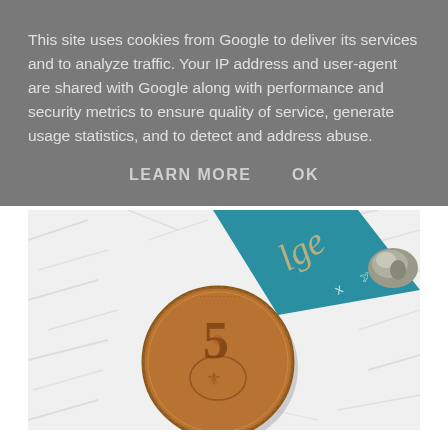This site uses cookies from Google to deliver its services and to analyze traffic. Your IP address and user-agent are shared with Google along with performance and security metrics to ensure quality of service, generate usage statistics, and to detect and address abuse.
LEARN MORE    OK
[Figure (photo): Close-up photo of a copper coin with the number 5 visible, a teal/blue ribbon with cursive white text and decorative bird motifs, and a small metallic object, all resting on a white fluffy fur surface.]